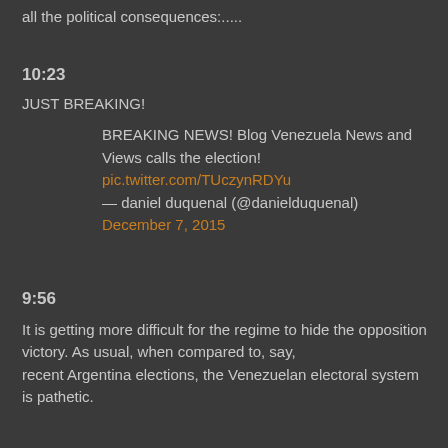all the political consequences:.....
10:23
JUST BREAKING!
BREAKING NEWS! Blog Venezuela News and Views calls the election!
pic.twitter.com/TUczynRDYu
— daniel duquenal (@danielduquenal) December 7, 2015
9:56
It is getting more difficult for the regime to hide the opposition victory. As usual, when compared to, say, recent Argentina elections, the Venezuelan electoral system is pathetic.